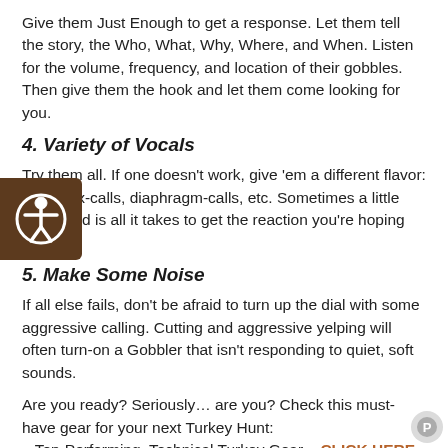Give them Just Enough to get a response. Let them tell the story, the Who, What, Why, Where, and When. Listen for the volume, frequency, and location of their gobbles. Then give them the hook and let them come looking for you.
4. Variety of Vocals
Try them all. If one doesn't work, give 'em a different flavor: slate-box-calls, diaphragm-calls, etc. Sometimes a little different d is all it takes to get the reaction you're hoping for.
5. Make Some Noise
If all else fails, don't be afraid to turn up the dial with some aggressive calling. Cutting and aggressive yelping will often turn-on a Gobbler that isn't responding to quiet, soft sounds.
Are you ready? Seriously… are you? Check this must-have gear for your next Turkey Hunt:
– Top-Performing, Technical Turkey Gear – CLICK HERE to Shop.
– A Smokin' Deal on Turkey Decoys Proven to Bring 'em CLOSE!
– CLICK HERE to Shop.